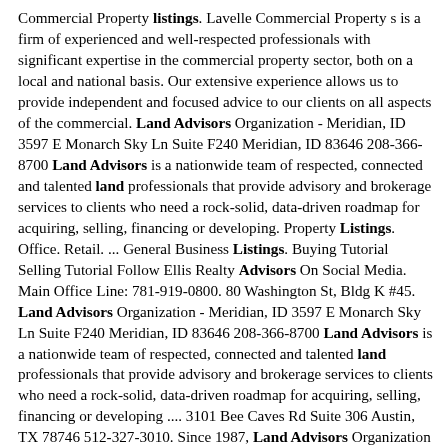Commercial Property listings. Lavelle Commercial Property s is a firm of experienced and well-respected professionals with significant expertise in the commercial property sector, both on a local and national basis. Our extensive experience allows us to provide independent and focused advice to our clients on all aspects of the commercial. Land Advisors Organization - Meridian, ID 3597 E Monarch Sky Ln Suite F240 Meridian, ID 83646 208-366-8700 Land Advisors is a nationwide team of respected, connected and talented land professionals that provide advisory and brokerage services to clients who need a rock-solid, data-driven roadmap for acquiring, selling, financing or developing. Property Listings. Office. Retail. ... General Business Listings. Buying Tutorial Selling Tutorial Follow Ellis Realty Advisors On Social Media. Main Office Line: 781-919-0800. 80 Washington St, Bldg K #45. Land Advisors Organization - Meridian, ID 3597 E Monarch Sky Ln Suite F240 Meridian, ID 83646 208-366-8700 Land Advisors is a nationwide team of respected, connected and talented land professionals that provide advisory and brokerage services to clients who need a rock-solid, data-driven roadmap for acquiring, selling, financing or developing .... 3101 Bee Caves Rd Suite 306 Austin, TX 78746 512-327-3010. Since 1987, Land Advisors Organization has a proven track record for successfully executing thousands of land transactions. Founded and headquartered in the Phoenix metropolitan area, they've expanded into key growth markets across the nation to...